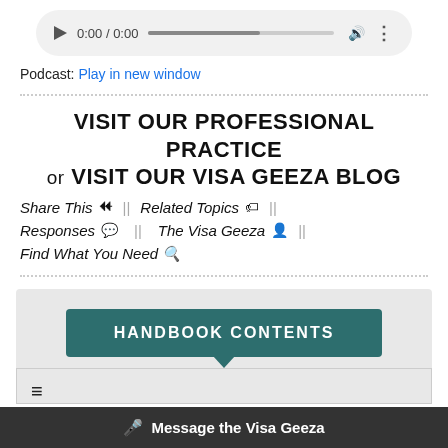[Figure (other): Audio player widget showing play button, 0:00 / 0:00 time, progress bar, volume and more options icons]
Podcast: Play in new window
VISIT OUR PROFESSIONAL PRACTICE or VISIT OUR VISA GEEZA BLOG
Share This  ||  Related Topics  ||
Responses  ||  The Visa Geeza  ||
Find What You Need
[Figure (other): Handbook Contents button — dark teal rounded rectangle with white bold uppercase text and downward pointing arrow]
[Figure (other): Message the Visa Geeza dark bottom bar with microphone icon]